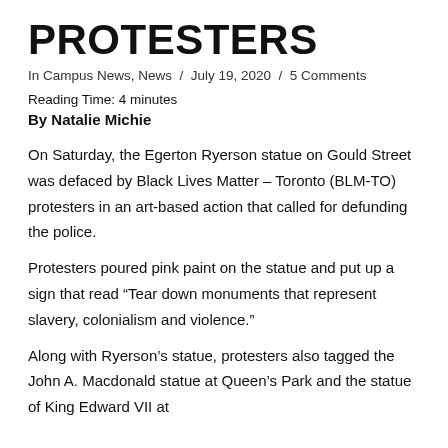PROTESTERS
In Campus News, News / July 19, 2020 / 5 Comments
Reading Time: 4 minutes
By Natalie Michie
On Saturday, the Egerton Ryerson statue on Gould Street was defaced by Black Lives Matter – Toronto (BLM-TO) protesters in an art-based action that called for defunding the police.
Protesters poured pink paint on the statue and put up a sign that read “Tear down monuments that represent slavery, colonialism and violence.”
Along with Ryerson’s statue, protesters also tagged the John A. Macdonald statue at Queen’s Park and the statue of King Edward VII at...